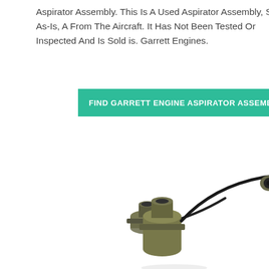Aspirator Assembly. This Is A Used Aspirator Assembly, Sold As-Is, A From The Aircraft. It Has Not Been Tested Or Inspected And Is Sold is. Garrett Engines.
FIND GARRETT ENGINE ASPIRATOR ASSEMBLY FOR SA
[Figure (photo): Photo of a Garrett Engine Aspirator Assembly consisting of two metallic components connected by a black cable — a smaller round connector plug on the left and a larger rectangular black housing with a cylindrical connector on the right.]